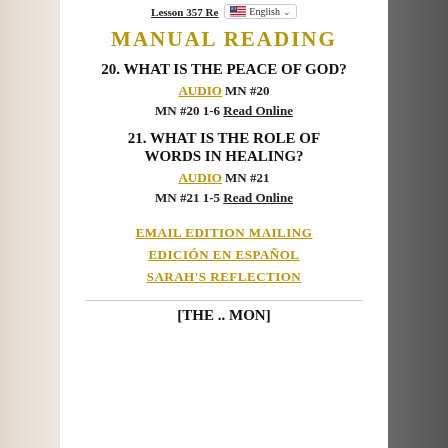Lesson 357 Re... English
MANUAL READING
20. WHAT IS THE PEACE OF GOD?
AUDIO MN #20
MN #20 1-6 Read Online
21. WHAT IS THE ROLE OF WORDS IN HEALING?
AUDIO MN #21
MN #21 1-5 Read Online
EMAIL EDITION MAILING
EDICIÓN EN ESPAÑOL
SARAH'S REFLECTION
[THE ... MON]